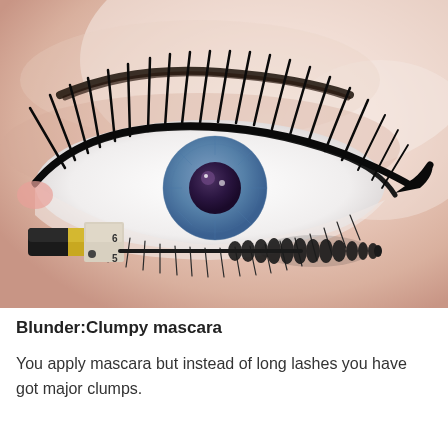[Figure (photo): Close-up photo of a blue eye with dramatic black eyeliner and long lashes, with a mascara wand visible in the lower left portion of the image]
Blunder:Clumpy mascara
You apply mascara but instead of long lashes you have got major clumps.